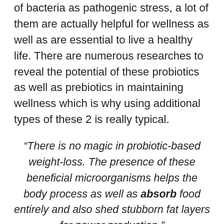of bacteria as pathogenic stress, a lot of them are actually helpful for wellness as well as are essential to live a healthy life. There are numerous researches to reveal the potential of these probiotics as well as prebiotics in maintaining wellness which is why using additional types of these 2 is really typical.
“There is no magic in probiotic-based weight-loss. The presence of these beneficial microorganisms helps the body process as well as absorb food entirely and also shed stubborn fat layers for power production.”
The variety in the microbiome indicates leanbiome bellevue washington it has nearly all bacterial pressures that are required to make